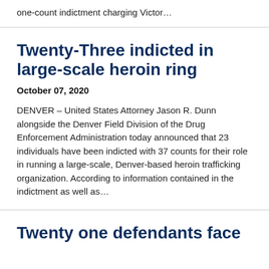one-count indictment charging Victor…
Twenty-Three indicted in large-scale heroin ring
October 07, 2020
DENVER – United States Attorney Jason R. Dunn alongside the Denver Field Division of the Drug Enforcement Administration today announced that 23 individuals have been indicted with 37 counts for their role in running a large-scale, Denver-based heroin trafficking organization. According to information contained in the indictment as well as…
Twenty one defendants face